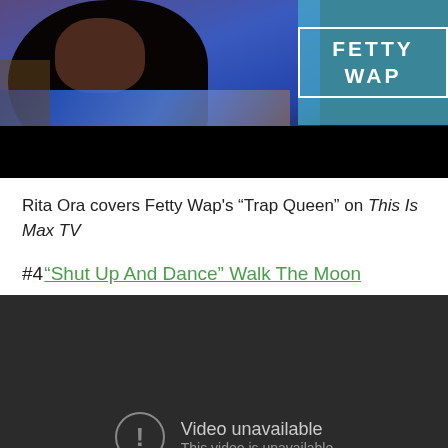[Figure (photo): Video thumbnail showing a person with long dark hair wearing a blue outfit, with a teal/cyan overlay on the right side showing the text 'FETTY WAP' in white bold letters with a border. Bottom portion is black.]
Rita Ora covers Fetty Wap's “Trap Queen” on This Is Max TV
#4 “Shut Up And Dance” Walk The Moon
[Figure (screenshot): Dark gray video player showing 'Video unavailable' message with a warning circle icon and text 'This video is unavailable']